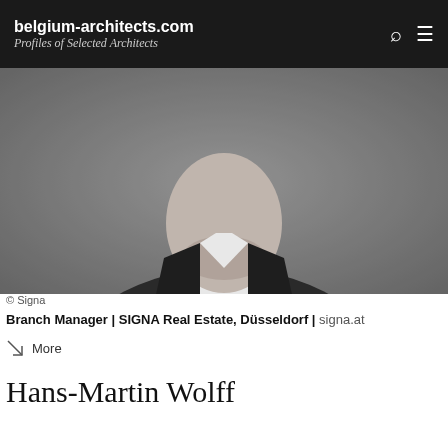belgium-architects.com | Profiles of Selected Architects
[Figure (photo): Black and white professional portrait photo of a man in a dark suit and open-collar white shirt, cropped from mid-chest up, smiling slightly, gray background.]
© Signa
Branch Manager | SIGNA Real Estate, Düsseldorf | signa.at
More
Hans-Martin Wolff